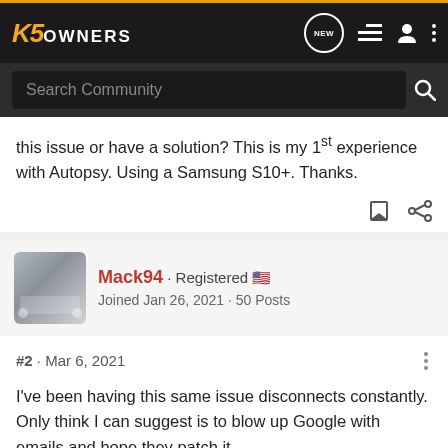K5 OWNERS — navigation bar with search
this issue or have a solution? This is my 1st experience with Autopsy. Using a Samsung S10+. Thanks.
Mack94 · Registered · Joined Jan 26, 2021 · 50 Posts
#2 · Mar 6, 2021
I've been having this same issue disconnects constantly. Only think I can suggest is to blow up Google with emails and hope they patch it.